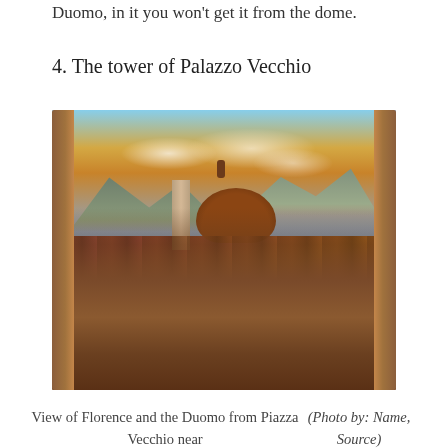Duomo, in it you won't get it from the dome.
4. The tower of Palazzo Vecchio
[Figure (photo): Aerial view of Florence and the Duomo (Santa Maria del Fiore) from Piazza Vecchio, with the cathedral dome and Giotto's bell tower visible above the terracotta rooftops, framed by stone walls in the foreground, at sunset with dramatic clouds.]
View of Florence and the Duomo from Piazza Vecchio near
(Photo by: [Name, Source])